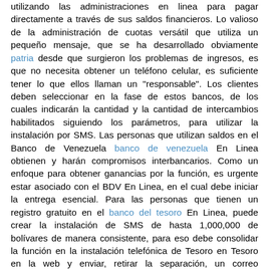utilizando las administraciones en linea para pagar directamente a través de sus saldos financieros. Lo valioso de la administración de cuotas versátil que utiliza un pequeño mensaje, que se ha desarrollado obviamente patria desde que surgieron los problemas de ingresos, es que no necesita obtener un teléfono celular, es suficiente tener lo que ellos llaman un "responsable". Los clientes deben seleccionar en la fase de estos bancos, de los cuales indicarán la cantidad y la cantidad de intercambios habilitados siguiendo los parámetros, para utilizar la instalación por SMS. Las personas que utilizan saldos en el Banco de Venezuela banco de venezuela En Linea obtienen y harán compromisos interbancarios. Como un enfoque para obtener ganancias por la función, es urgente estar asociado con el BDV En Linea, en el cual debe iniciar la entrega esencial. Para las personas que tienen un registro gratuito en el banco del tesoro En Linea, puede crear la instalación de SMS de hasta 1,000,000 de bolívares de manera consistente, para eso debe consolidar la función en la instalación telefónica de Tesoro en Tesoro en la web y enviar, retirar la separación, un correo electrónico al 2383 con toda la palabra Pagar, y los principales ejemplos de las cuentas bancarias de objetivos